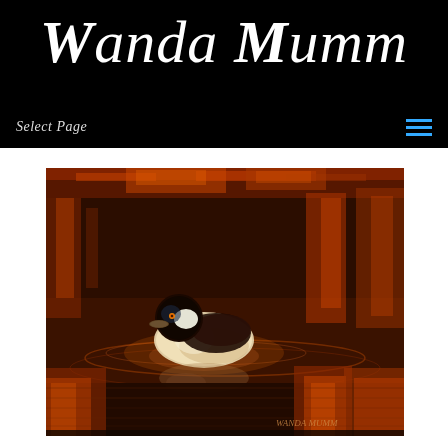Wanda Mumm
Select Page
[Figure (illustration): Painting of a bufflehead duck swimming on water with warm orange-red reflections at sunset or dusk, signed by Wanda Mumm in the lower right corner.]